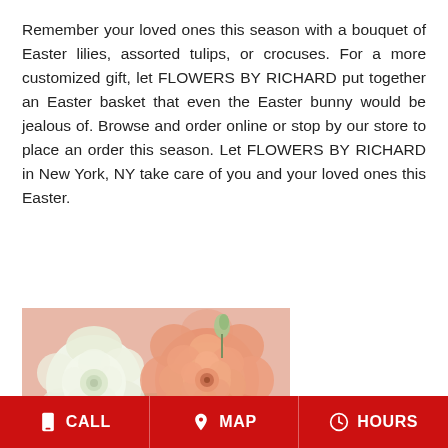Remember your loved ones this season with a bouquet of Easter lilies, assorted tulips, or crocuses. For a more customized gift, let FLOWERS BY RICHARD put together an Easter basket that even the Easter bunny would be jealous of. Browse and order online or stop by our store to place an order this season. Let FLOWERS BY RICHARD in New York, NY take care of you and your loved ones this Easter.
[Figure (photo): Close-up photo of Easter flower bouquet featuring a white rose and a peach/salmon ranunculus bloom with greenery against a pink background.]
CALL  MAP  HOURS